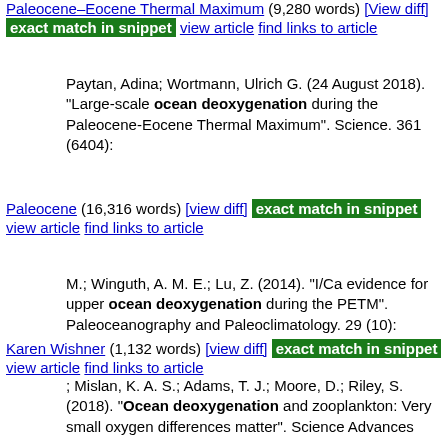Paleocene–Eocene Thermal Maximum (9,280 words) [View diff] exact match in snippet view article find links to article
Paytan, Adina; Wortmann, Ulrich G. (24 August 2018). "Large-scale ocean deoxygenation during the Paleocene-Eocene Thermal Maximum". Science. 361 (6404):
Paleocene (16,316 words) [view diff] exact match in snippet view article find links to article
M.; Winguth, A. M. E.; Lu, Z. (2014). "I/Ca evidence for upper ocean deoxygenation during the PETM". Paleoceanography and Paleoclimatology. 29 (10):
Karen Wishner (1,132 words) [view diff] exact match in snippet view article find links to article
; Mislan, K. A. S.; Adams, T. J.; Moore, D.; Riley, S. (2018). "Ocean deoxygenation and zooplankton: Very small oxygen differences matter". Science Advances
Dawn Wright (2,383 words) [view diff] exact match in snippet view article find links to article